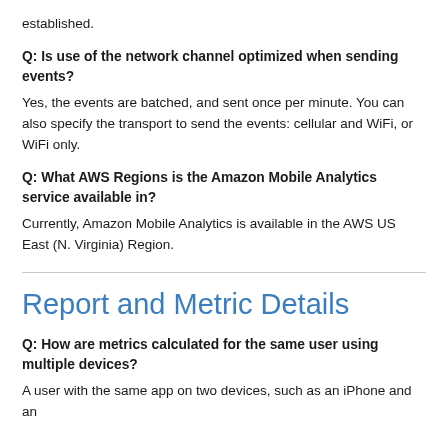established.
Q: Is use of the network channel optimized when sending events?
Yes, the events are batched, and sent once per minute. You can also specify the transport to send the events: cellular and WiFi, or WiFi only.
Q: What AWS Regions is the Amazon Mobile Analytics service available in?
Currently, Amazon Mobile Analytics is available in the AWS US East (N. Virginia) Region.
Report and Metric Details
Q: How are metrics calculated for the same user using multiple devices?
A user with the same app on two devices, such as an iPhone and an